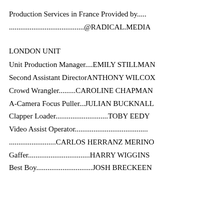Production Services in France Provided by.....
........................................@RADICAL.MEDIA
LONDON UNIT
Unit Production Manager....EMILY STILLMAN
Second Assistant DirectorANTHONY WILCOX
Crowd Wrangler.........CAROLINE CHAPMAN
A-Camera Focus Puller...JULIAN BUCKNALL
Clapper Loader............................TOBY EEDY
Video Assist Operator.......................................
.........................CARLOS HERRANZ MERINO
Gaffer.................................HARRY WIGGINS
Best Boy..............................JOSH BRECKEEN